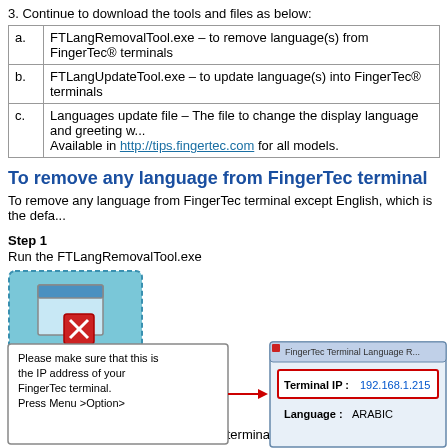3. Continue to download the tools and files as below:
| a. | FTLangRemovalTool.exe – to remove language(s) from FingerTec® terminals |
| b. | FTLangUpdateTool.exe – to update language(s) into FingerTec® terminals |
| c. | Languages update file – The file to change the display language and greeting w... Available in http://tips.fingertec.com for all models. |
To remove any language from FingerTec terminal
To remove any language from FingerTec terminal except English, which is the defa...
Step 1
Run the FTLangRemovalTool.exe
[Figure (screenshot): FTLangRemovalTool icon - a light blue square with a window and red X icon, labeled FTLangRemovalTool]
Step 2
Enter the IP address of the FingerTec terminal
[Figure (screenshot): Screenshot showing a callout box 'Please make sure that this is the IP address of your FingerTec terminal. Press Menu >Option>' with an arrow pointing to FingerTec Terminal Language R... dialog showing Terminal IP: 192.168.1.215 and Language: ARABIC]